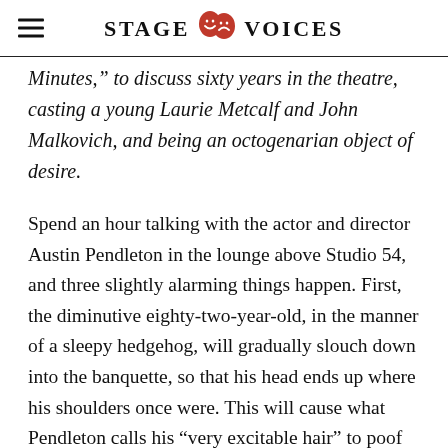STAGE VOICES
Minutes,” to discuss sixty years in the theatre, casting a young Laurie Metcalf and John Malkovich, and being an octogenarian object of desire.
Spend an hour talking with the actor and director Austin Pendleton in the lounge above Studio 54, and three slightly alarming things happen. First, the diminutive eighty-two-year-old, in the manner of a sleepy hedgehog, will gradually slouch down into the banquette, so that his head ends up where his shoulders once were. This will cause what Pendleton calls his “very excitable hair” to poof up